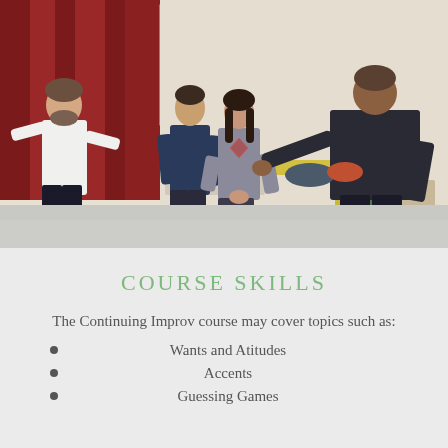[Figure (photo): Four people standing in a room with red curtains and yellow tables. One person in a white t-shirt, one in a navy fitted t-shirt, one woman in a patterned sweater, and one man in a dark long-sleeve top gesturing with his hands. Appears to be an improv class or workshop setting.]
COURSE SKILLS
The Continuing Improv course may cover topics such as:
Wants and Atitudes
Accents
Guessing Games